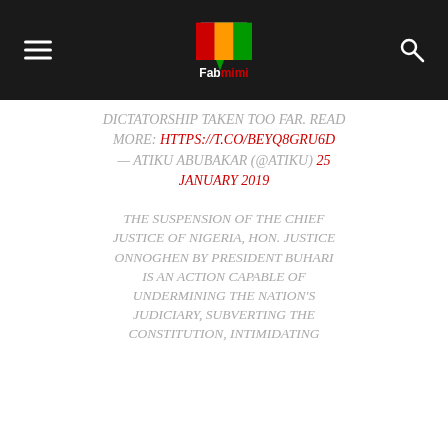Fabmimi
DICTATORSHIP TAKEN TOO FAR. READ MORE: HTTPS://T.CO/BEYQ8GRU6D — ATIKU ABUBAKAR (@ATIKU) 25 JANUARY 2019
THE SUSPENSION OF THE CHIEF JUSTICE OF NIGERIA, HON. JUSTICE ONNOGHEN BY PRESIDENT BUHARI IS AN ACTION CAPABLE OF UNDERMINING THE NATION'S JUDICIARY, SUBVERTING THE CONSTITUTION, INTIMIDATING